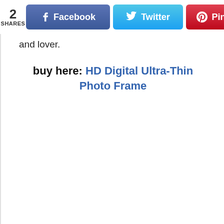[Figure (screenshot): Social share bar with 2 SHARES count, Facebook, Twitter, Pinterest, and LinkedIn buttons]
and lover.
buy here: HD Digital Ultra-Thin Photo Frame